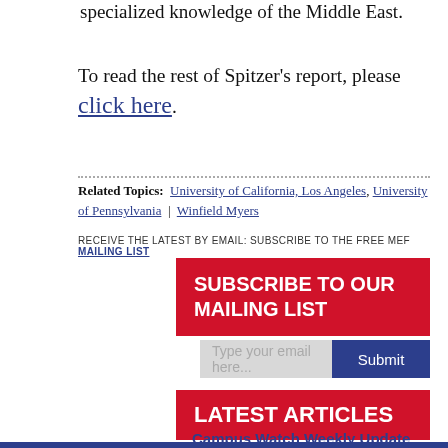specialized knowledge of the Middle East.
To read the rest of Spitzer's report, please click here.
Related Topics: University of California, Los Angeles, University of Pennsylvania | Winfield Myers
RECEIVE THE LATEST BY EMAIL: SUBSCRIBE TO THE FREE MEF MAILING LIST
SUBSCRIBE TO OUR MAILING LIST
Type your email here... Submit
LATEST ARTICLES
Campus Watch Weekly Update
Campus Watch Weekly Update